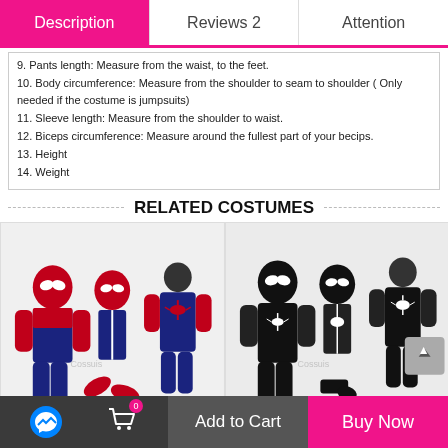Description | Reviews 2 | Attention
9. Pants length: Measure from the waist, to the feet.
10. Body circumference: Measure from the shoulder to seam to shoulder ( Only needed if the costume is jumpsuits)
11. Sleeve length: Measure from the shoulder to waist.
12. Biceps circumference: Measure around the fullest part of your becips.
13. Height
14. Weight
RELATED COSTUMES
[Figure (photo): Red and blue Spider-Man costume set for kids showing full body front and back view, mask, and gloves]
[Figure (photo): Black Spider-Man (Venom) costume set for kids showing full body front and back view, mask, and accessories]
Add to Cart | Buy Now